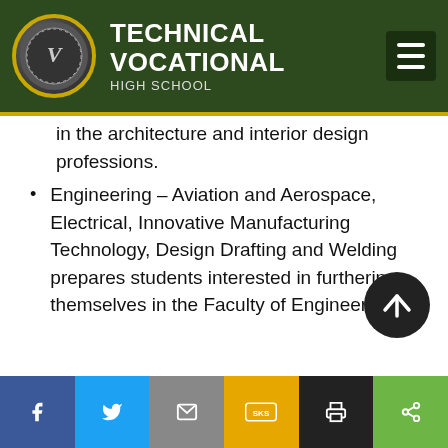TECHNICAL VOCATIONAL HIGH SCHOOL
in the architecture and interior design professions.
Engineering – Aviation and Aerospace, Electrical, Innovative Manufacturing Technology, Design Drafting and Welding prepares students interested in furthering themselves in the Faculty of Engineering.
Facebook, Twitter, Email, SMS, Print, Share